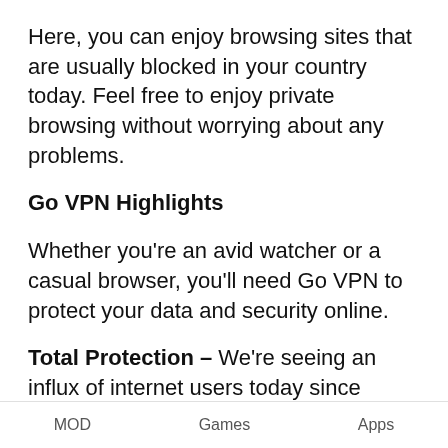Here, you can enjoy browsing sites that are usually blocked in your country today. Feel free to enjoy private browsing without worrying about any problems.
Go VPN Highlights
Whether you're an avid watcher or a casual browser, you'll need Go VPN to protect your data and security online.
Total Protection – We're seeing an influx of internet users today since many people have smartphones now. There are so many fantastic apps and websites that we can access on the internet. But if we're not careful, we can end up with millions of people who were scammed online and even got their data stolen!
MOD   Games   Apps